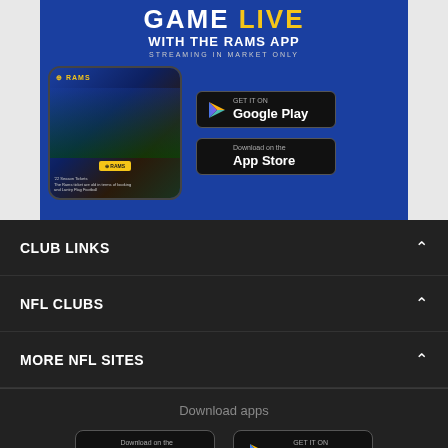[Figure (screenshot): Advertisement banner for the LA Rams App showing 'GAME LIVE WITH THE RAMS APP' text, a phone mockup showing Rams players, and Google Play / App Store download buttons on blue background]
CLUB LINKS
NFL CLUBS
MORE NFL SITES
Download apps
[Figure (screenshot): App Store and Google Play download buttons in dark footer section]